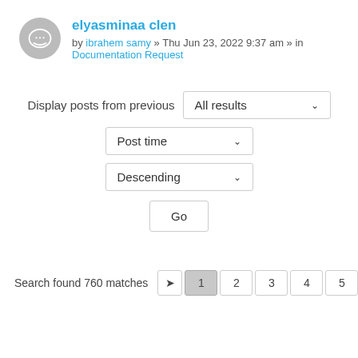elyasminaa clen
by ibrahem samy » Thu Jun 23, 2022 9:37 am » in Documentation Request
[Figure (screenshot): Forum post filter UI with dropdowns: Display posts from previous (All results), Post time, Descending, and a Go button]
Search found 760 matches  → 1 2 3 4 5 … 31 >